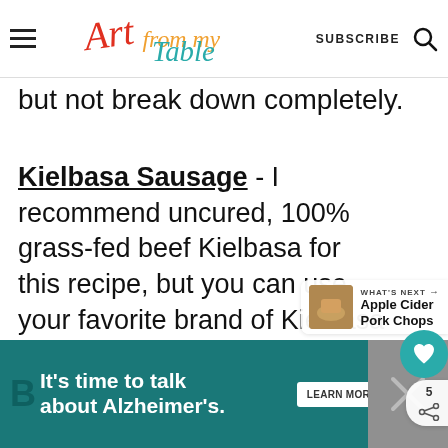Art from my Table — SUBSCRIBE
but not break down completely.
Kielbasa Sausage - I recommend uncured, 100% grass-fed beef Kielbasa for this recipe, but you can use your favorite brand of Kielbasa or smoked sausage. The brand I used is Teton Waters Ranch.
WHAT'S NEXT → Apple Cider Pork Chops
[Figure (infographic): Advertisement banner: 'It's time to talk about Alzheimer's.' with a LEARN MORE button and Alzheimer's association logo]